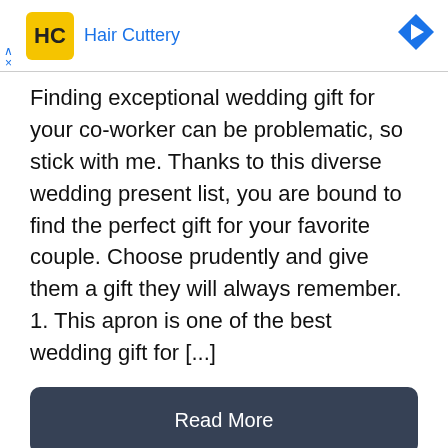[Figure (logo): Hair Cuttery advertisement banner with yellow HC logo, brand name in blue, blue diamond arrow icon, and ad close controls]
Finding exceptional wedding gift for your co-worker can be problematic, so stick with me. Thanks to this diverse wedding present list, you are bound to find the perfect gift for your favorite couple. Choose prudently and give them a gift they will always remember. 1. This apron is one of the best wedding gift for [...]
Read More
12 Best Christmas Gift